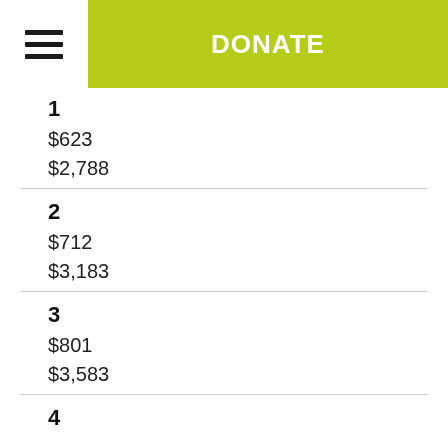DONATE
1
$623
$2,788
2
$712
$3,183
3
$801
$3,583
4